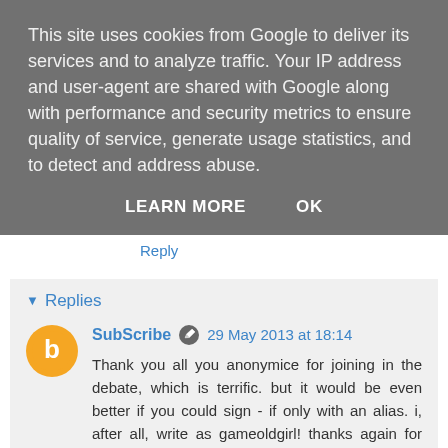This site uses cookies from Google to deliver its services and to analyze traffic. Your IP address and user-agent are shared with Google along with performance and security metrics to ensure quality of service, generate usage statistics, and to detect and address abuse.
LEARN MORE    OK
commit suicide.
Reply
Replies
SubScribe  29 May 2013 at 18:14
Thank you all you anonymice for joining in the debate, which is terrific. but it would be even better if you could sign - if only with an alias. i, after all, write as gameoldgirl! thanks again for your thoughtful contributions
Reply